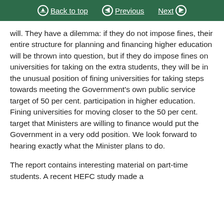Back to top | Previous | Next
will. They have a dilemma: if they do not impose fines, their entire structure for planning and financing higher education will be thrown into question, but if they do impose fines on universities for taking on the extra students, they will be in the unusual position of fining universities for taking steps towards meeting the Government’s own public service target of 50 per cent. participation in higher education. Fining universities for moving closer to the 50 per cent. target that Ministers are willing to finance would put the Government in a very odd position. We look forward to hearing exactly what the Minister plans to do.
The report contains interesting material on part-time students. A recent HEFC study made a